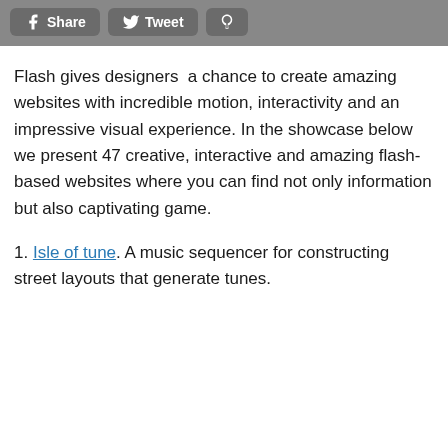Share  Tweet  [Pinterest]
Flash gives designers  a chance to create amazing websites with incredible motion, interactivity and an impressive visual experience. In the showcase below we present 47 creative, interactive and amazing flash-based websites where you can find not only information but also captivating game.
1. Isle of tune. A music sequencer for constructing street layouts that generate tunes.